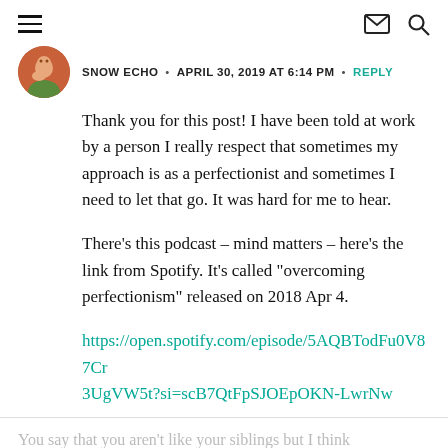Navigation icons: hamburger menu, envelope, search
SNOW ECHO • APRIL 30, 2019 AT 6:14 PM • REPLY
Thank you for this post! I have been told at work by a person I really respect that sometimes my approach is as a perfectionist and sometimes I need to let that go. It was hard for me to hear.
There’s this podcast – mind matters – here’s the link from Spotify. It’s called “overcoming perfectionism” released on 2018 Apr 4.
https://open.spotify.com/episode/5AQBTodFu0V87Cr3UgVW5t?si=scB7QtFpSJOEpOKN-LwrNw
You say that you aren’t like your siblings but I think